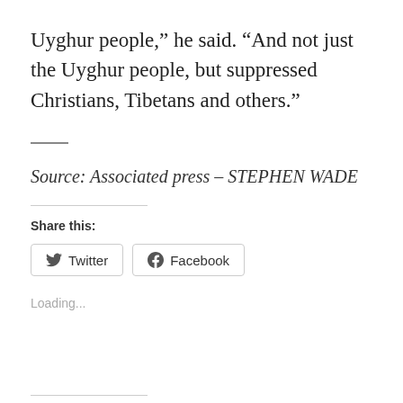Uyghur people,” he said. “And not just the Uyghur people, but suppressed Christians, Tibetans and others.”
Source: Associated press – STEPHEN WADE
Share this:
Twitter
Facebook
Loading...